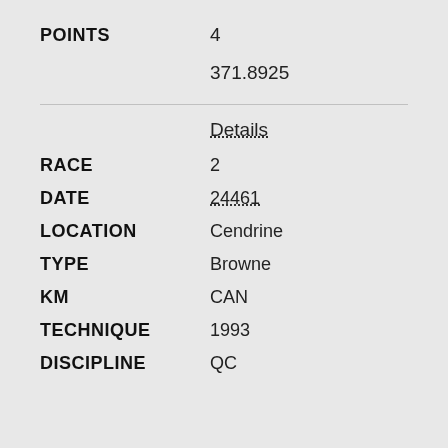| Field | Value |
| --- | --- |
| POINTS | 4 |
|  | 371.8925 |
|  | Details |
| RACE | 2 |
| DATE | 24461 |
| LOCATION | Cendrine |
| TYPE | Browne |
| KM | CAN |
| TECHNIQUE | 1993 |
| DISCIPLINE | QC |